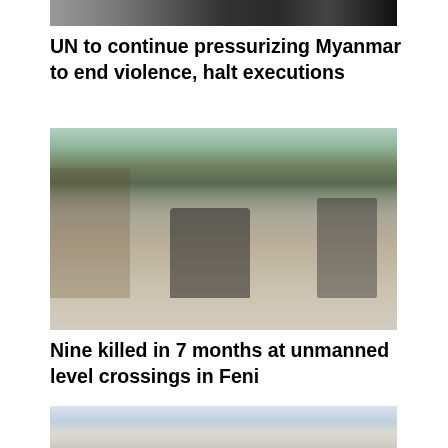[Figure (photo): Partial top photo of people, cropped at top edge of page]
UN to continue pressurizing Myanmar to end violence, halt executions
[Figure (photo): Street scene in Feni showing motorcyclist on road, bicycles, pedestrians, rickshaws, shops and buildings in background]
Nine killed in 7 months at unmanned level crossings in Feni
[Figure (photo): Partial bottom photo partially visible, appears to show waterfront or open area scene]